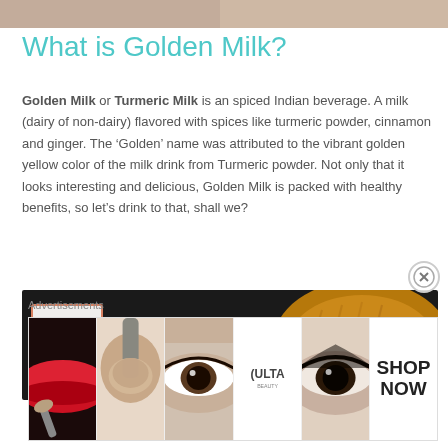[Figure (photo): Top portion of a photo, partially cropped, showing skin tones]
What is Golden Milk?
Golden Milk or Turmeric Milk is an spiced Indian beverage. A milk (dairy of non-dairy) flavored with spices like turmeric powder, cinnamon and ginger. The ‘Golden’ name was attributed to the vibrant golden yellow color of the milk drink from Turmeric powder. Not only that it looks interesting and delicious, Golden Milk is packed with healthy benefits, so let’s drink to that, shall we?
[Figure (photo): Photo of golden milk ingredients including a white package, a golden/mustard colored knitted textile or item, and other elements on a dark background]
Advertisements
[Figure (photo): Ulta Beauty advertisement banner showing makeup close-ups of lips, brush, eye, Ulta logo, eye makeup, and SHOP NOW text]